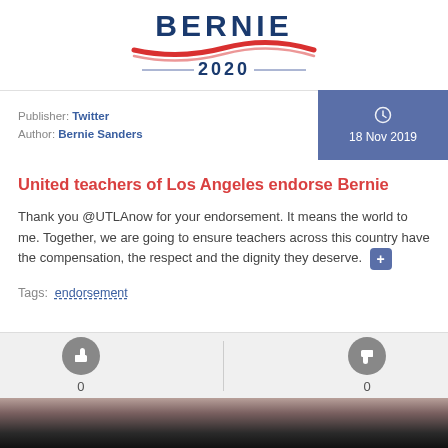[Figure (logo): Bernie Sanders 2020 campaign logo with red swoosh and blue text, partially cropped at top]
Publisher: Twitter
Author: Bernie Sanders
18 Nov 2019
United teachers of Los Angeles endorse Bernie
Thank you @UTLAnow for your endorsement. It means the world to me. Together, we are going to ensure teachers across this country have the compensation, the respect and the dignity they deserve.
Tags: endorsement
[Figure (photo): Partial photo of Bernie Sanders at bottom of page, showing top of his head and hair against dark background]